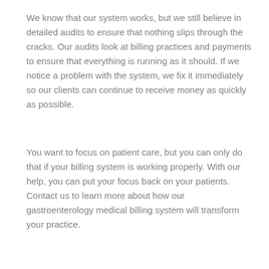We know that our system works, but we still believe in detailed audits to ensure that nothing slips through the cracks. Our audits look at billing practices and payments to ensure that everything is running as it should. If we notice a problem with the system, we fix it immediately so our clients can continue to receive money as quickly as possible.
You want to focus on patient care, but you can only do that if your billing system is working properly. With our help, you can put your focus back on your patients. Contact us to learn more about how our gastroenterology medical billing system will transform your practice.